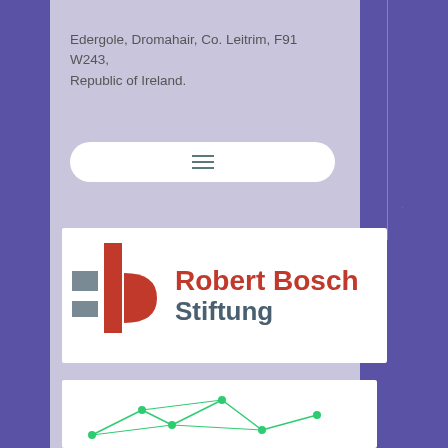Edergole, Dromahair, Co. Leitrim, F91 W243, Republic of Ireland.
[Figure (screenshot): Hamburger menu button (three horizontal lines) on a white rounded rectangle]
[Figure (logo): Robert Bosch Stiftung logo with red and grey geometric icon and text 'Robert Bosch Stiftung' in red and grey]
[Figure (illustration): Network graph with green nodes and lines, partially visible at bottom of page]